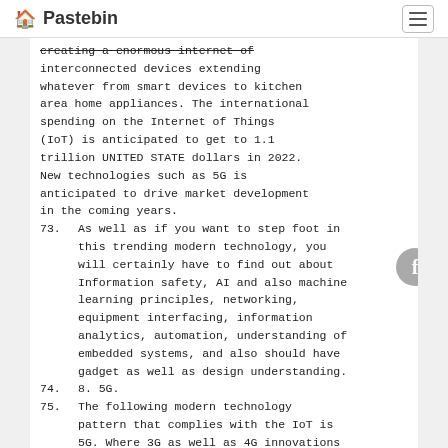Pastebin
creating a enormous internet of interconnected devices extending whatever from smart devices to kitchen area home appliances. The international spending on the Internet of Things (IoT) is anticipated to get to 1.1 trillion UNITED STATE dollars in 2022. New technologies such as 5G is anticipated to drive market development in the coming years.
73.  As well as if you want to step foot in this trending modern technology, you will certainly have to find out about Information safety, AI and also machine learning principles, networking, equipment interfacing, information analytics, automation, understanding of embedded systems, and also should have gadget as well as design understanding.
74.  8. 5G.
75.  The following modern technology pattern that complies with the IoT is 5G. Where 3G as well as 4G innovations have allowed us to search the internet, information driven advancements,